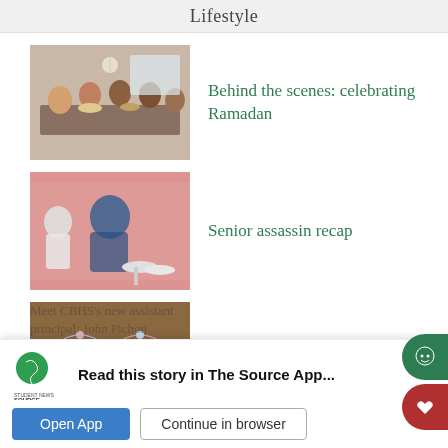Lifestyle
[Figure (photo): Group of people seated around a dinner table with food, celebrating Ramadan]
Behind the scenes: celebrating Ramadan
[Figure (photo): Students in a room, one person wearing a blue shirt, blurry action shot]
Senior assassin recap
[Figure (photo): Puzzle pieces arranged in an infinity symbol shape on a wooden table]
Autism and person first language
Meet CBHS's new assistant principal: John Pichon
Read this story in The Source App...
Open App  Continue in browser